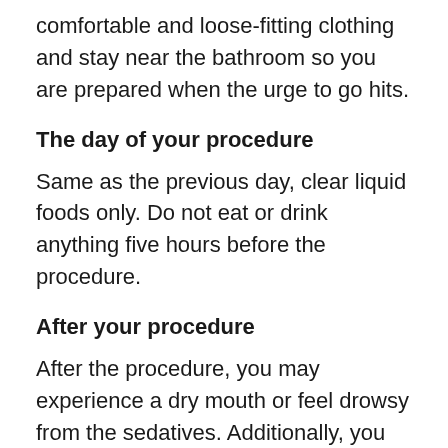comfortable and loose-fitting clothing and stay near the bathroom so you are prepared when the urge to go hits.
The day of your procedure
Same as the previous day, clear liquid foods only. Do not eat or drink anything five hours before the procedure.
After your procedure
After the procedure, you may experience a dry mouth or feel drowsy from the sedatives. Additionally, you may feel gassy due to the air that is put into the digestive tract during the endoscopic procedure. We recommend heading home, having a light meal, and taking